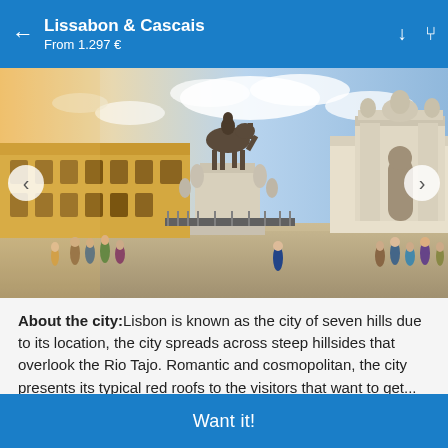Lissabon & Cascais
From 1.297 €
[Figure (photo): Praça do Comércio in Lisbon: an equestrian statue on a tall pedestal in the center, with the Arco da Rua Augusta triumphal arch on the right, yellow neoclassical buildings in the background, and tourists in the foreground. Dramatic sky with clouds and warm sunset light from the left.]
About the city: Lisbon is known as the city of seven hills due to its location, the city spreads across steep hillsides that overlook the Rio Tajo. Romantic and cosmopolitan, the city presents its typical red roofs to the visitors that want to get...
Want it!